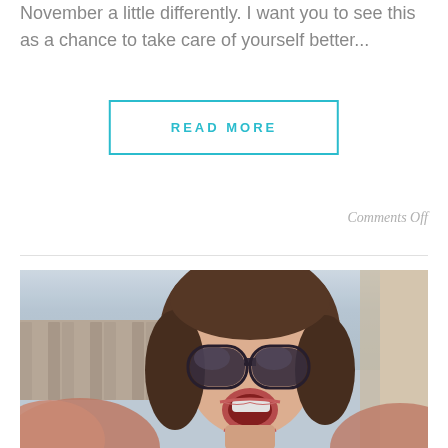November a little differently. I want you to see this as a chance to take care of yourself better...
READ MORE
Comments Off
[Figure (photo): A woman wearing sunglasses taking a selfie outdoors, mouth open in excitement, with a wooden fence and light sky in the background.]